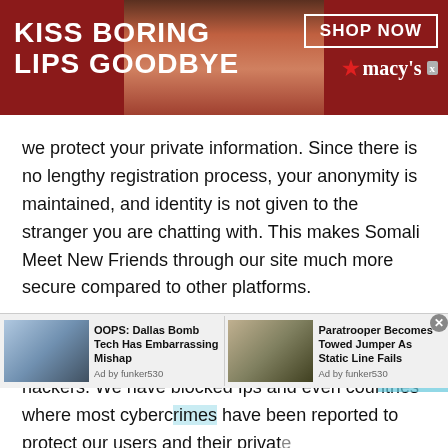[Figure (illustration): Macy's advertisement banner with red background, woman's face with red lips in center, 'KISS BORING LIPS GOODBYE' text on left, 'SHOP NOW' button and Macy's logo on right]
we protect your private information. Since there is no lengthy registration process, your anonymity is maintained, and identity is not given to the stranger you are chatting with. This makes Somali Meet New Friends through our site much more secure compared to other platforms.
We prioritize safety and security and take every measure to secure our users from any invaders of hackers. We have blocked Ips and even countries where most cybercrimes have been reported to protect our users and their privat...
[Figure (screenshot): Scroll-up arrow button overlay with light blue background]
[Figure (screenshot): Bottom ad strip with two ad items: 'OOPS: Dallas Bomb Tech Has Embarrassing Mishap' by funker530, and 'Paratrooper Becomes Towed Jumper As Static Line Fails' by funker530]